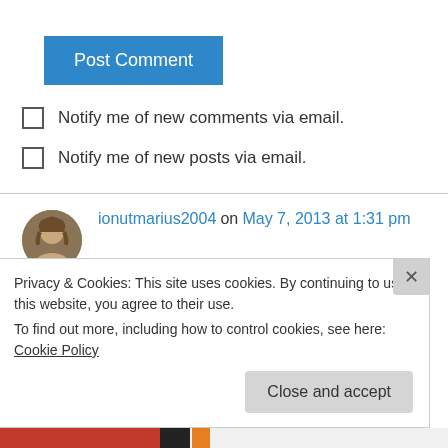[Figure (other): Blue 'Post Comment' button]
Notify me of new comments via email.
Notify me of new posts via email.
ionutmarius2004 on May 7, 2013 at 1:31 pm
SUPER charming beautiful picture!
↳ Reply
Privacy & Cookies: This site uses cookies. By continuing to use this website, you agree to their use.
To find out more, including how to control cookies, see here: Cookie Policy
[Figure (other): Close and accept button]